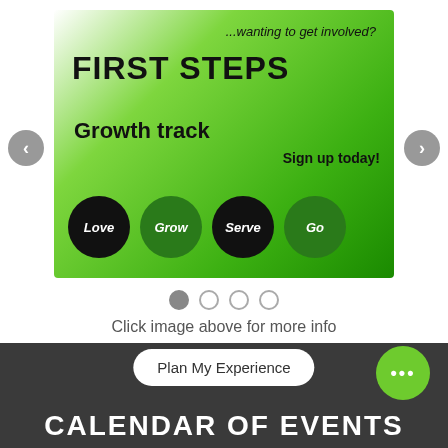[Figure (infographic): Slideshow banner with green gradient background. Text reads '...wanting to get involved? FIRST STEPS Growth track Sign up today!' with four circles labeled Love, Grow, Serve, Go. Navigation arrows on left and right sides.]
Click image above for more info
Plan My Experience
CALENDAR OF EVENTS